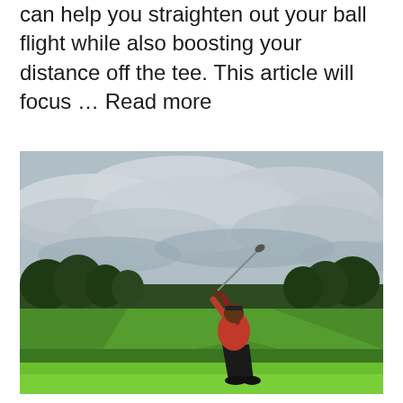can help you straighten out your ball flight while also boosting your distance off the tee. This article will focus … Read more
[Figure (photo): A golfer in a red shirt and black pants completing a full swing on a lush green golf course fairway, with dramatic cloudy sky and dark green trees in the background.]